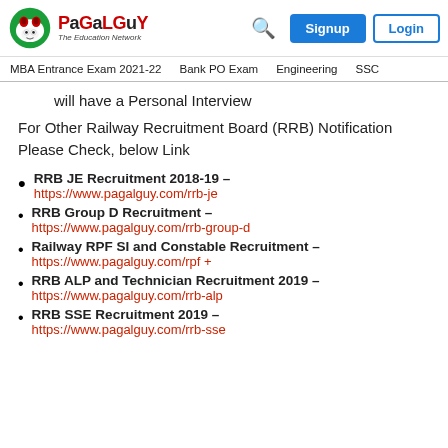PaGaLGuY - The Education Network | Search | Signup | Login
MBA Entrance Exam 2021-22  Bank PO Exam  Engineering  SSC
will have a Personal Interview
For Other Railway Recruitment Board (RRB) Notification Please Check, below Link
RRB JE Recruitment 2018-19 – https://www.pagalguy.com/rrb-je
RRB Group D Recruitment – https://www.pagalguy.com/rrb-group-d
Railway RPF SI and Constable Recruitment – https://www.pagalguy.com/rpf +
RRB ALP and Technician Recruitment 2019 – https://www.pagalguy.com/rrb-alp
RRB SSE Recruitment 2019 – https://www.pagalguy.com/rrb-sse